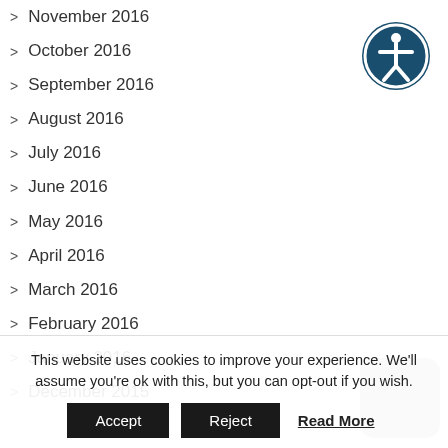November 2016
October 2016
September 2016
August 2016
July 2016
June 2016
May 2016
April 2016
March 2016
February 2016
January 2016
December 2015
[Figure (illustration): Accessibility icon — white figure with arms outstretched in a circle, on dark blue background]
This website uses cookies to improve your experience. We'll assume you're ok with this, but you can opt-out if you wish.